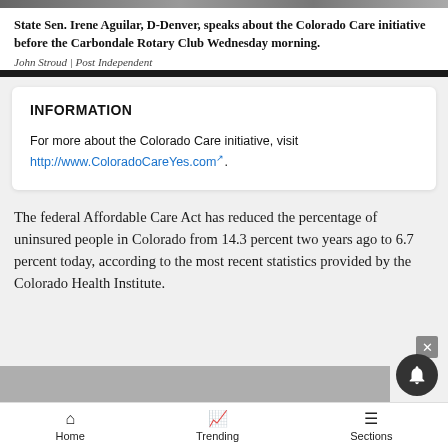[Figure (photo): Partial view of a photo showing State Sen. Irene Aguilar speaking]
State Sen. Irene Aguilar, D-Denver, speaks about the Colorado Care initiative before the Carbondale Rotary Club Wednesday morning.
John Stroud | Post Independent
INFORMATION
For more about the Colorado Care initiative, visit http://www.ColoradoCareYes.com.
The federal Affordable Care Act has reduced the percentage of uninsured people in Colorado from 14.3 percent two years ago to 6.7 percent today, according to the most recent statistics provided by the Colorado Health Institute.
Home   Trending   Sections